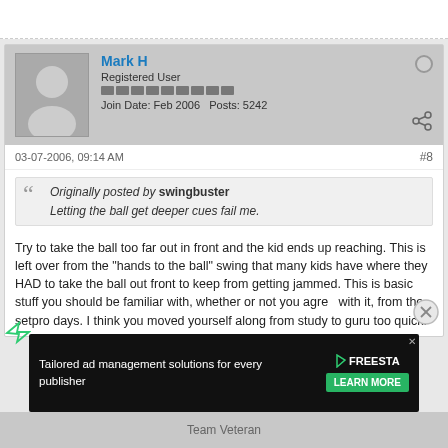Mark H
Registered User
Join Date: Feb 2006   Posts: 5242
03-07-2006, 09:14 AM
#8
Originally posted by swingbuster
Letting the ball get deeper cues fail me.
Try to take the ball too far out in front and the kid ends up reaching. This is left over from the "hands to the ball" swing that many kids have where they HAD to take the ball out front to keep from getting jammed. This is basic stuff you should be familiar with, whether or not you agree with it, from the setpro days. I think you moved yourself along from study to guru too quick.
Tailored ad management solutions for every publisher
FREESTA
LEARN MORE
Team Veteran